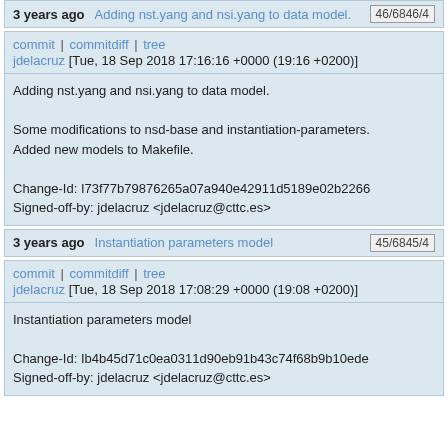3 years ago   Adding nst.yang and nsi.yang to data model.   46/6846/4
commit | commitdiff | tree
jdelacruz [Tue, 18 Sep 2018 17:16:16 +0000 (19:16 +0200)]
Adding nst.yang and nsi.yang to data model.

Some modifications to nsd-base and instantiation-parameters.
Added new models to Makefile.

Change-Id: I73f77b79876265a07a940e42911d5189e02b2266
Signed-off-by: jdelacruz <jdelacruz@cttc.es>
3 years ago   Instantiation parameters model   45/6845/4
commit | commitdiff | tree
jdelacruz [Tue, 18 Sep 2018 17:08:29 +0000 (19:08 +0200)]
Instantiation parameters model

Change-Id: Ib4b45d71c0ea0311d90eb91b43c74f68b9b10ede
Signed-off-by: jdelacruz <jdelacruz@cttc.es>